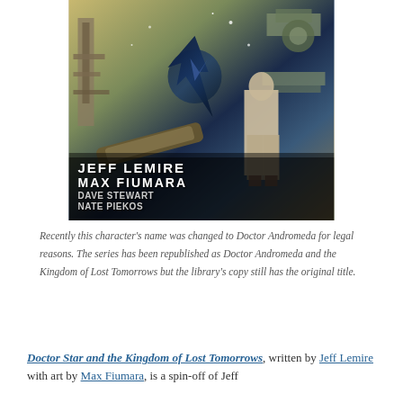[Figure (illustration): Comic book cover art showing an older man in a lab coat standing amid futuristic machinery and cosmic imagery. Credits shown: Jeff Lemire, Max Fiumara, Dave Stewart, Nate Piekos.]
Recently this character's name was changed to Doctor Andromeda for legal reasons. The series has been republished as Doctor Andromeda and the Kingdom of Lost Tomorrows but the library's copy still has the original title.
Doctor Star and the Kingdom of Lost Tomorrows, written by Jeff Lemire with art by Max Fiumara, is a spin-off of Jeff